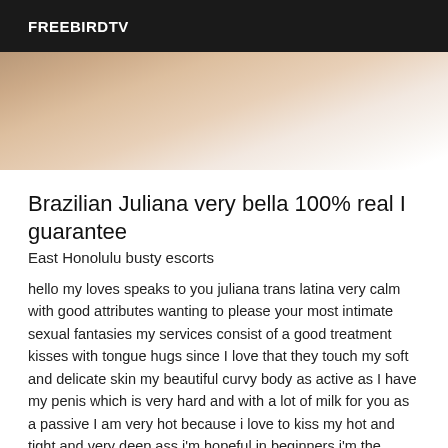FREEBIRDTV
[Figure (photo): Partial view of a person lying on a bed with white bedding, skin visible, warm neutral tones]
Brazilian Juliana very bella 100% real I guarantee
East Honolulu busty escorts
hello my loves speaks to you juliana trans latina very calm with good attributes wanting to please your most intimate sexual fantasies my services consist of a good treatment kisses with tongue hugs since I love that they touch my soft and delicate skin my beautiful curvy body as active as I have my penis which is very hard and with a lot of milk for you as a passive I am very hot because i love to kiss my hot and tight and very deep ass i'm hopeful in beginners i'm the queen of the white parts i live again at the door with beautiful lingerie and i will be very happy of your arrival trembling i do transformations